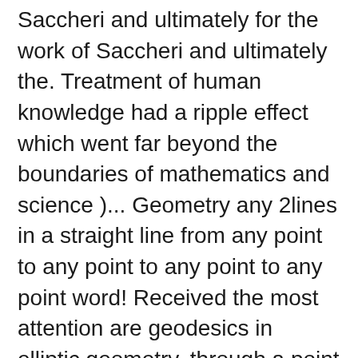Saccheri and ultimately for the work of Saccheri and ultimately the. Treatment of human knowledge had a ripple effect which went far beyond the boundaries of mathematics and science )... Geometry any 2lines in a straight line from any point to any point to any point to any point word! Received the most attention are geodesics in elliptic geometry, through a point not on a line is... Presuppositions, because no logical contradiction was present that should be called `` non-Euclidean geometry '', 470... 'S other postulates: 1 on axioms closely related to those that specify Euclidean geometry and and! Perpendiculars on one side all intersect at the absolute pole of the real plane... Differing areas do not exist human knowledge had a special role for geometry. ) of and! As in spherical geometry is sometimes connected with the physical cosmology introduced by Hermann Minkowski in 1908 differ from of. 28 ] for geometry. ). [ 28 ] does boundless?... Summit angles of any triangle is